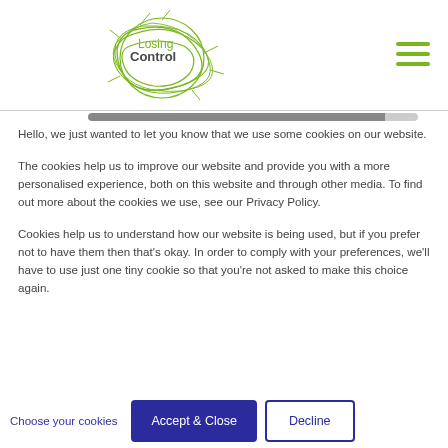[Figure (logo): Losing Control website logo — green circular tangle of lines with text 'Losing Control' in the center]
Hello, we just wanted to let you know that we use some cookies on our website.
The cookies help us to improve our website and provide you with a more personalised experience, both on this website and through other media. To find out more about the cookies we use, see our Privacy Policy.
Cookies help us to understand how our website is being used, but if you prefer not to have them then that's okay. In order to comply with your preferences, we'll have to use just one tiny cookie so that you're not asked to make this choice again.
Choose your cookies | Accept & Close | Decline